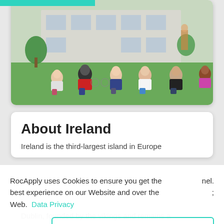[Figure (photo): Group of diverse students sitting on grass outside a university building]
About Ireland
Ireland is the third-largest island in Europe
RocApply uses Cookies to ensure you get the best experience on our Website and over the Web.  Data Privacy
nel. ;
Got it!
Alright!
Dublin, founded by the vikings and remains a